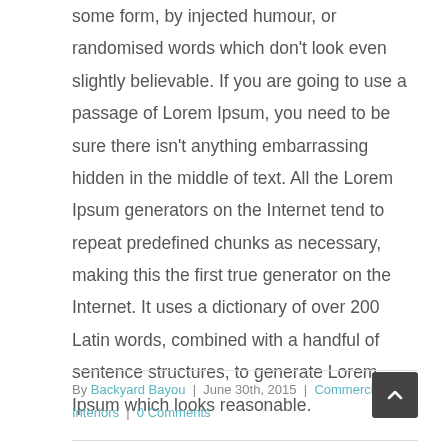some form, by injected humour, or randomised words which don't look even slightly believable. If you are going to use a passage of Lorem Ipsum, you need to be sure there isn't anything embarrassing hidden in the middle of text. All the Lorem Ipsum generators on the Internet tend to repeat predefined chunks as necessary, making this the first true generator on the Internet. It uses a dictionary of over 200 Latin words, combined with a handful of sentence structures, to generate Lorem Ipsum which looks reasonable.
By Backyard Bayou | June 30th, 2015 | Commercial, Interiors | 0 Comments